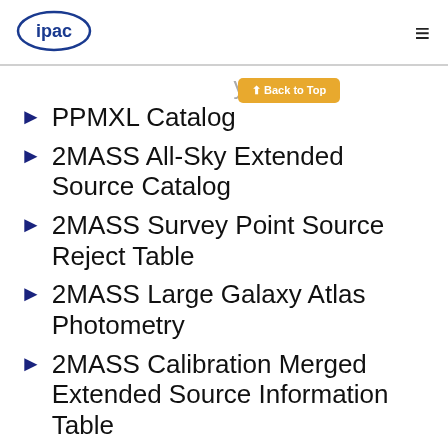ipac [logo] [hamburger menu]
PPMXL Catalog
2MASS All-Sky Extended Source Catalog
2MASS Survey Point Source Reject Table
2MASS Large Galaxy Atlas Photometry
2MASS Calibration Merged Extended Source Information Table